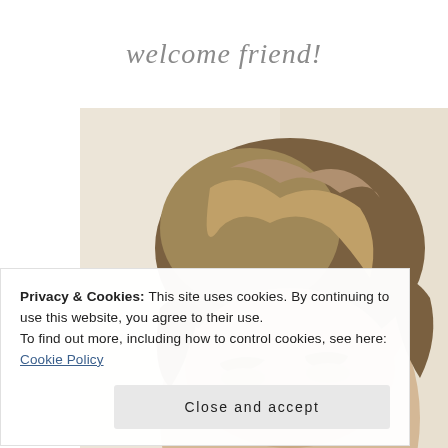welcome friend!
[Figure (photo): Close-up photo of a woman with blonde/brown highlighted hair, showing the top half of her face (forehead and eyes area), against a light beige background.]
Privacy & Cookies: This site uses cookies. By continuing to use this website, you agree to their use.
To find out more, including how to control cookies, see here:
Cookie Policy
Close and accept